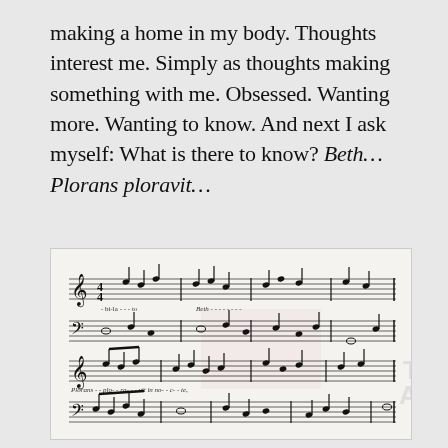making a home in my body. Thoughts interest me. Simply as thoughts making something with me. Obsessed. Wanting more. Wanting to know. And next I ask myself: What is there to know? Beth... Plorans ploravit...
[Figure (illustration): A photograph of handwritten musical score manuscript showing multiple staves with notes, lyrics underneath including 'Beth' and 'Plorans' text markings, written in ink on aged paper.]